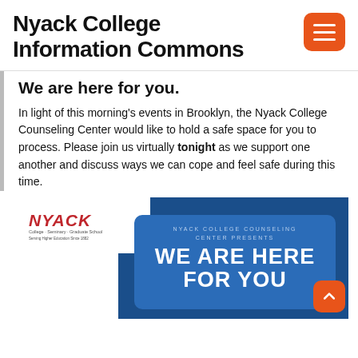Nyack College Information Commons
We are here for you.
In light of this morning’s events in Brooklyn, the Nyack College Counseling Center would like to hold a safe space for you to process. Please join us virtually tonight as we support one another and discuss ways we can cope and feel safe during this time.
[Figure (infographic): Nyack College logo on white background over a blue promotional poster. The poster reads 'NYACK COLLEGE COUNSELING CENTER PRESENTS' and 'WE ARE HERE FOR YOU' in large white letters on a blue rounded rectangle background.]